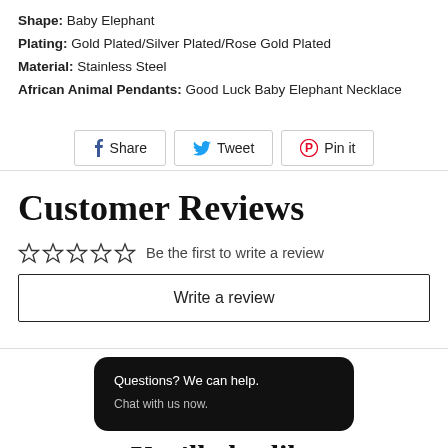Shape: Baby Elephant
Plating: Gold Plated/Silver Plated/Rose Gold Plated
Material: Stainless Steel
African Animal Pendants: Good Luck Baby Elephant Necklace
[Figure (other): Social share buttons: Share (Facebook), Tweet (Twitter), Pin it (Pinterest)]
Customer Reviews
Be the first to write a review
Write a review
Questions? We can help. Chat with us now.
You'll also like